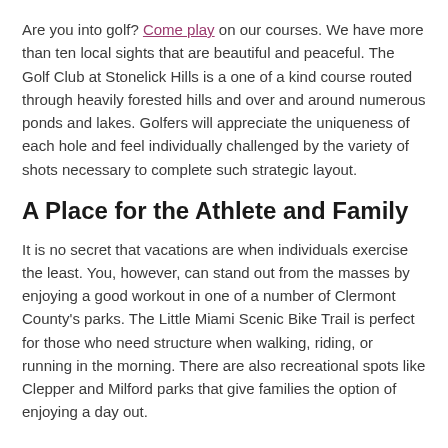Are you into golf? Come play on our courses. We have more than ten local sights that are beautiful and peaceful. The Golf Club at Stonelick Hills is a one of a kind course routed through heavily forested hills and over and around numerous ponds and lakes. Golfers will appreciate the uniqueness of each hole and feel individually challenged by the variety of shots necessary to complete such strategic layout.
A Place for the Athlete and Family
It is no secret that vacations are when individuals exercise the least. You, however, can stand out from the masses by enjoying a good workout in one of a number of Clermont County's parks. The Little Miami Scenic Bike Trail is perfect for those who need structure when walking, riding, or running in the morning. There are also recreational spots like Clepper and Milford parks that give families the option of enjoying a day out.